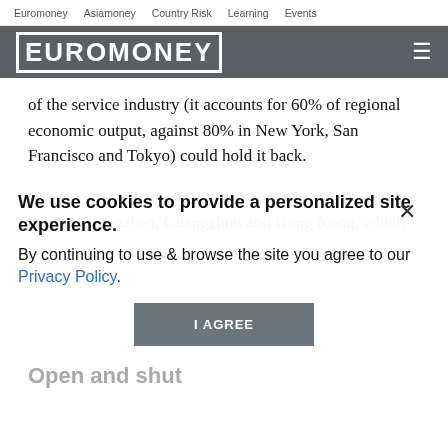Euromoney   Asiamoney   Country Risk   Learning   Events
[Figure (logo): Euromoney logo in white text on dark grey/slate background with hamburger menu icon]
of the service industry (it accounts for 60% of regional economic output, against 80% in New York, San Francisco and Tokyo) could hold it back.
It's also worth noting that regional power will be spread between Shenzhen, Guangzhou and Hong Kong, which could lead to conflict. More will become clear when Beijing decides how to enact the strategy, but the party leaders equate strength with big nation- and Made in China 2025-style thinking, not the renminbi.
We use cookies to provide a personalized site experience.
By continuing to use & browse the site you agree to our Privacy Policy.
I AGREE
Open and shut